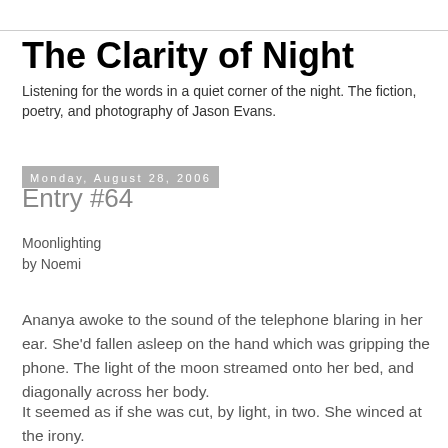The Clarity of Night
Listening for the words in a quiet corner of the night. The fiction, poetry, and photography of Jason Evans.
Monday, August 28, 2006
Entry #64
Moonlighting
by Noemi
Ananya awoke to the sound of the telephone blaring in her ear. She'd fallen asleep on the hand which was gripping the phone. The light of the moon streamed onto her bed, and diagonally across her body.
It seemed as if she was cut, by light, in two. She winced at the irony.